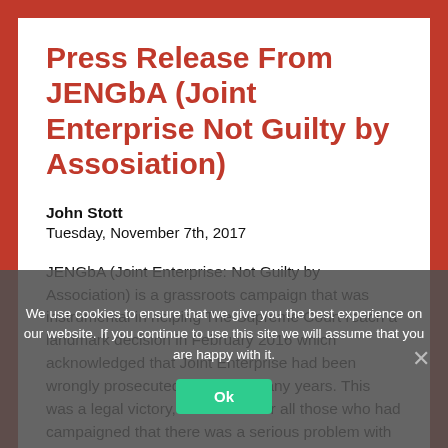Press Release From JENGbA (Joint Enterprise Not Guilty by Assosiation)
John Stott
Tuesday, November 7th, 2017
JENGbA (Joint Enterprise: Not Guilty by Association) is a grassroots campaign that was instrumental in helping The Supreme Court reach a landmark decision in February 2016 which acknowledged that Joint Enterprise had been wrongly prosecuted for many, many years. This was a legal victory, vindication for all those who had campaigned that there was a serious problem with the law.
We use cookies to ensure that we give you the best experience on our website. If you continue to use this site we will assume that you are happy with it.